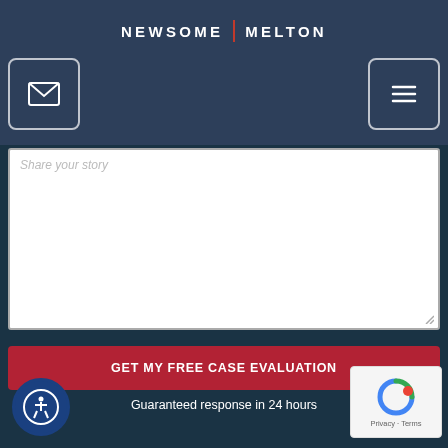NEWSOME | MELTON
[Figure (screenshot): Email icon button (envelope icon) on dark navy header]
[Figure (screenshot): Hamburger menu button on dark navy header]
[Figure (screenshot): Large white textarea input field with placeholder text 'Share your story']
GET MY FREE CASE EVALUATION
Guaranteed response in 24 hours
[Figure (logo): Accessibility icon button at bottom left - circular blue button with wheelchair user icon]
[Figure (screenshot): reCAPTCHA badge at bottom right showing Privacy and Terms links]